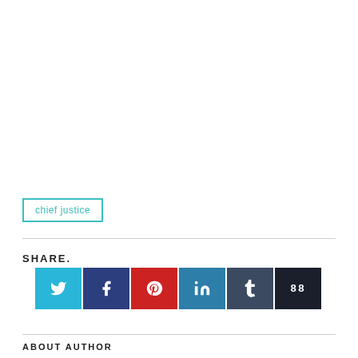chief justice
SHARE.
[Figure (other): Row of 6 social share icon buttons: Twitter (light blue), Facebook (dark blue), Pinterest (red), LinkedIn (teal blue), Tumblr (slate blue), share counter showing 88 (dark/black)]
ABOUT AUTHOR